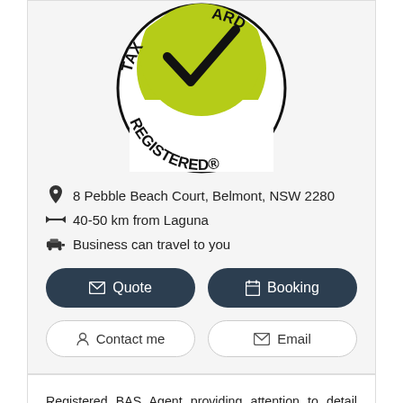[Figure (logo): Tax Agent Board Registered logo — circular badge with green checkmark and text 'TAX', 'REGISTERED', 'ARD' around the circle]
8 Pebble Beach Court, Belmont, NSW 2280
40-50 km from Laguna
Business can travel to you
Quote
Booking
Contact me
Email
Registered BAS Agent providing attention to detail BAS Services | Bookkeeping | Payroll Services in the Lake Macquarie & Newcastle areas. BAS Services Payroll Services Bookkeeping Monthly & EOFY Reporting Bookkeeping Backlogs Systems & Processes Software - Setup | Training | Support XERO | MYOB | ServiceM8 | WorkflowMAX